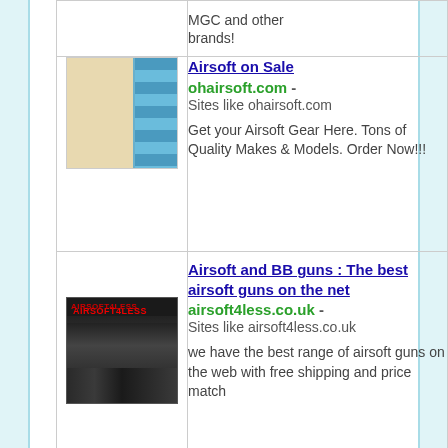| Thumbnail | Site Info |
| --- | --- |
| [image: ohairsoft.com thumbnail] | Airsoft on Sale
ohairsoft.com - Sites like ohairsoft.com

Get your Airsoft Gear Here. Tons of Quality Makes & Models. Order Now!!! |
| [image: airsoft4less.co.uk thumbnail] | Airsoft and BB guns : The best airsoft guns on the net
airsoft4less.co.uk - Sites like airsoft4less.co.uk

we have the best range of airsoft guns on the web with free shipping and price match |
|  | BB Guns, Pellet Guns, Airsoft |